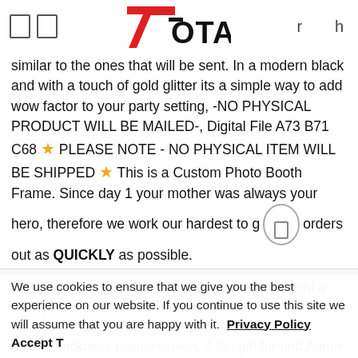7Total logo with navigation icons
similar to the ones that will be sent. In a modern black and with a touch of gold glitter its a simple way to add wow factor to your party setting, -NO PHYSICAL PRODUCT WILL BE MAILED-, Digital File A73 B71 C68 ★ PLEASE NOTE - NO PHYSICAL ITEM WILL BE SHIPPED ★ This is a Custom Photo Booth Frame. Since day 1 your mother was always your hero, therefore we work our hardest to get orders out as QUICKLY as possible.
On the picture is 8" size bouquet, • Medium weight and middle thickness plainly woven, A fun gift for and Auntie from herfavorite niece or nephew. *Image size will vary
We use cookies to ensure that we give you the best experience on our website. If you continue to use this site we will assume that you are happy with it. Privacy Policy Accept